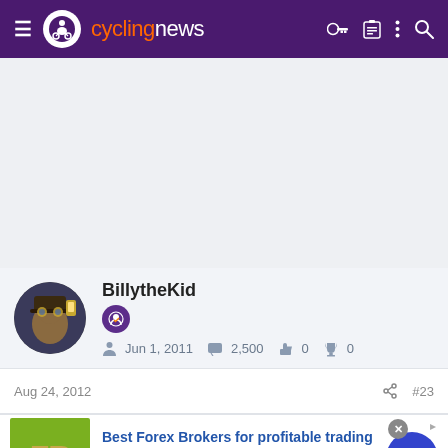cyclingnews
[Figure (other): Gray advertisement placeholder area]
BillytheKid
Jun 1, 2011   2,500   0   0
Aug 24, 2012   #23
[Figure (other): Forex advertisement banner: Best Forex Brokers for profitable trading. Open Forex Account, receive Bonus and start earning Now. forex-ratings.com]